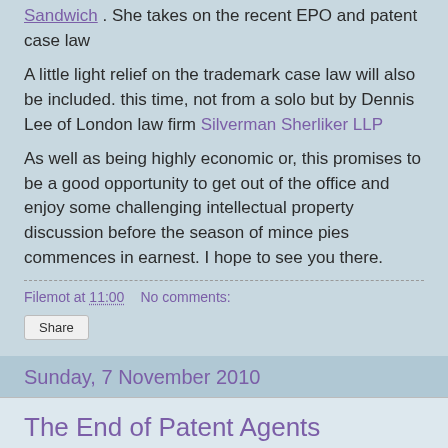Sandwich . She takes on the recent EPO and patent case law
A little light relief on the trademark case law will also be included. this time, not from a solo but by Dennis Lee of London law firm Silverman Sherliker LLP
As well as being highly economic or, this promises to be a good opportunity to get out of the office and enjoy some challenging intellectual property discussion before the season of mince pies commences in earnest. I hope to see you there.
Filemot at 11:00    No comments:
Share
Sunday, 7 November 2010
The End of Patent Agents
A recent post In